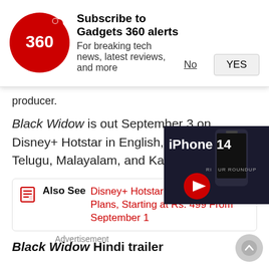[Figure (logo): Gadgets 360 red circular logo with '360' text]
Subscribe to Gadgets 360 alerts
For breaking tech news, latest reviews, and more
No
YES
producer.
Black Widow is out September 3 on Disney+ Hotstar in English, Hindi, Tamil, Telugu, Malayalam, and Kannada.
Also See  Disney+ Hotstar Unveils New Plans, Starting at Rs. 499 From September 1
Black Widow Hindi trailer
[Figure (screenshot): iPhone 14 video roundup thumbnail with play button]
Advertisement